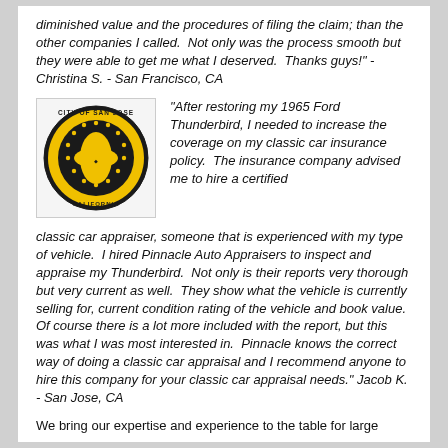diminished value and the procedures of filing the claim; than the other companies I called. Not only was the process smooth but they were able to get me what I deserved. Thanks guys!" - Christina S. - San Francisco, CA
[Figure (logo): City of San Jose, California official seal — circular black and gold emblem with city name and state text around the border]
"After restoring my 1965 Ford Thunderbird, I needed to increase the coverage on my classic car insurance policy. The insurance company advised me to hire a certified classic car appraiser, someone that is experienced with my type of vehicle. I hired Pinnacle Auto Appraisers to inspect and appraise my Thunderbird. Not only is their reports very thorough but very current as well. They show what the vehicle is currently selling for, current condition rating of the vehicle and book value. Of course there is a lot more included with the report, but this was what I was most interested in. Pinnacle knows the correct way of doing a classic car appraisal and I recommend anyone to hire this company for your classic car appraisal needs." Jacob K. - San Jose, CA
We bring our expertise and experience to the table for large